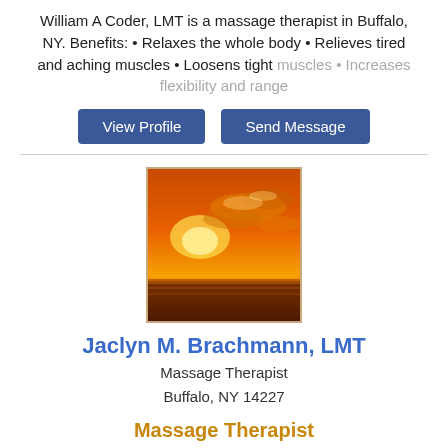William A Coder, LMT is a massage therapist in Buffalo, NY. Benefits: • Relaxes the whole body • Relieves tired and aching muscles • Loosens tight muscles • Increases flexibility and range
View Profile | Send Message
[Figure (photo): Sunset over water with orange sky and clouds]
Jaclyn M. Brachmann, LMT
Massage Therapist
Buffalo, NY 14227
Massage Therapist
Jaclyn M. Brachmann, LMT is a massage therapist in Buffalo, NY. Benefits: •